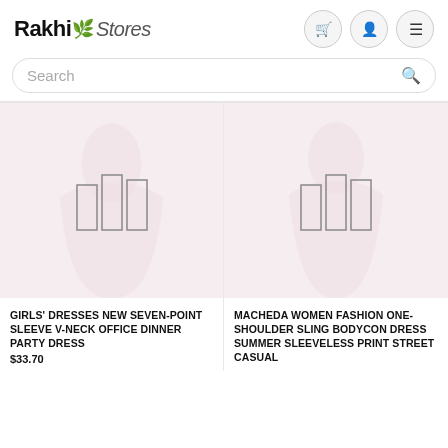[Figure (logo): Rakhi Stores logo with stylized text and small icon between words]
[Figure (screenshot): Three circular icon buttons: shopping cart, user/person, and hamburger menu]
Search
[Figure (photo): Left product card image placeholder with ghost figure and loading icon for a girls dress]
[Figure (photo): Right product card image placeholder with ghost figure and loading icon for a women bodycon dress]
GIRLS' DRESSES NEW SEVEN-POINT SLEEVE V-NECK OFFICE DINNER PARTY DRESS $33.70
MACHEDA WOMEN FASHION ONE-SHOULDER SLING BODYCON DRESS SUMMER SLEEVELESS PRINT STREET CASUAL